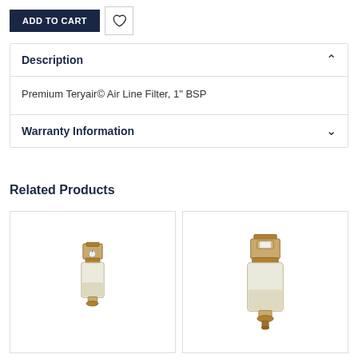ADD TO CART
Description
Premium Teryair© Air Line Filter, 1" BSP
Warranty Information
Related Products
[Figure (photo): Small air line filter product image — tan/brass colored compact filter with clear bowl]
[Figure (photo): Larger air line filter product image — tan/brass colored filter with clear bowl and outlet at bottom]